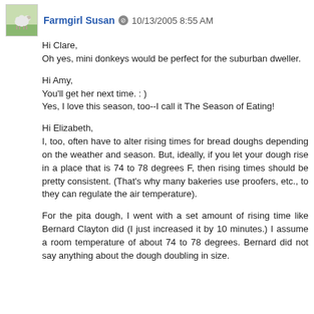Farmgirl Susan  10/13/2005 8:55 AM
Hi Clare,
Oh yes, mini donkeys would be perfect for the suburban dweller.
Hi Amy,
You'll get her next time. : )
Yes, I love this season, too--I call it The Season of Eating!
Hi Elizabeth,
I, too, often have to alter rising times for bread doughs depending on the weather and season. But, ideally, if you let your dough rise in a place that is 74 to 78 degrees F, then rising times should be pretty consistent. (That's why many bakeries use proofers, etc., to they can regulate the air temperature).
For the pita dough, I went with a set amount of rising time like Bernard Clayton did (I just increased it by 10 minutes.) I assume a room temperature of about 74 to 78 degrees. Bernard did not say anything about the dough doubling in size.